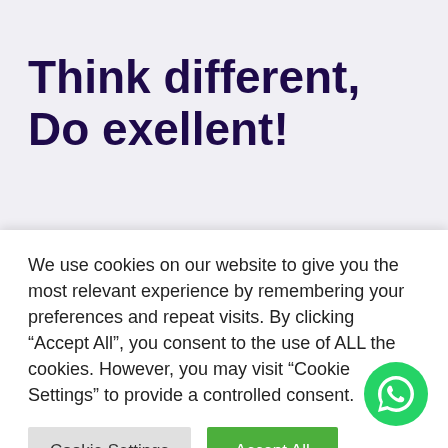Think different, Do exellent!
With social media such a force online now, companies have now been able to leverage those tools to increase their link popularity. Utilising blogs, forums, Twitter, etc to help build communities that naturally
We use cookies on our website to give you the most relevant experience by remembering your preferences and repeat visits. By clicking “Accept All”, you consent to the use of ALL the cookies. However, you may visit “Cookie Settings” to provide a controlled consent.
[Figure (other): WhatsApp chat button (green circle with phone/chat icon)]